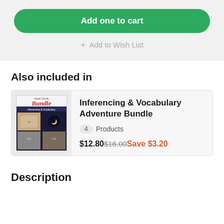Add one to cart
+ Add to Wish List
Also included in
[Figure (illustration): Bundle product cover image for Inferencing & Vocabulary Adventure Bundle showing multiple activity cards with text 'Upper Grade Bundle Inferencing & Vocabulary']
Inferencing & Vocabulary Adventure Bundle
4 Products
$12.80 $16.00 Save $3.20
Description